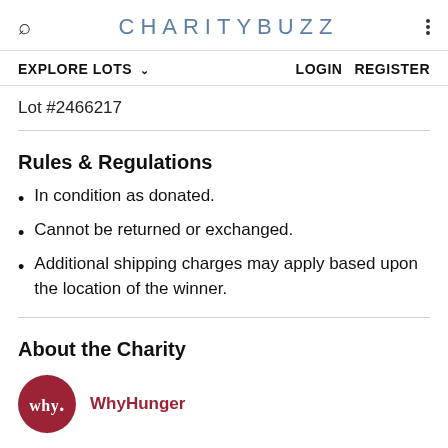CHARITYBUZZ
EXPLORE LOTS  LOGIN REGISTER
Lot #2466217
Rules & Regulations
In condition as donated.
Cannot be returned or exchanged.
Additional shipping charges may apply based upon the location of the winner.
About the Charity
[Figure (logo): WhyHunger circular logo with 'why.' text in white on dark red background]
WhyHunger